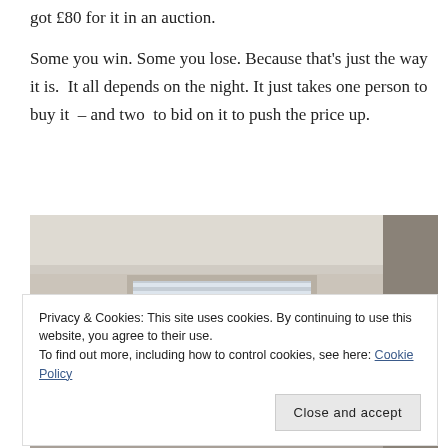got £80 for it in an auction.
Some you win. Some you lose. Because that's just the way it is.  It all depends on the night. It just takes one person to buy it  – and two  to bid on it to push the price up.
[Figure (photo): Interior room photo showing ceiling cornice, a window with horizontal blinds, and cream/beige walls. Right side shows a darker wall section.]
Privacy & Cookies: This site uses cookies. By continuing to use this website, you agree to their use.
To find out more, including how to control cookies, see here: Cookie Policy